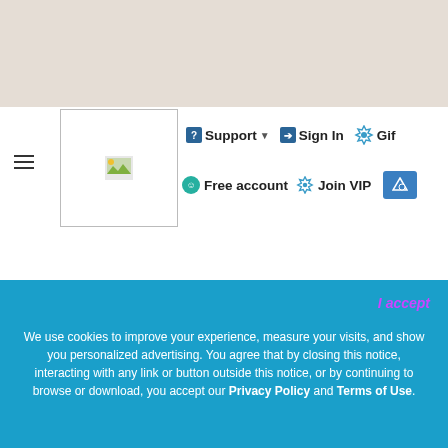[Figure (screenshot): Website header/navigation screenshot showing Support, Sign In, Gift, Free account, Join VIP, and cart buttons with a logo placeholder. Below is a 3D render of a figure kneeling wearing boots/socks with text 'cbmit_leave6 a_bmit_leave5'. A second partial 3D render shows a head. A blue cookie consent banner reads: 'We use cookies to improve your experience, measure your visits, and show you personalized advertising. You agree that by closing this notice, interacting with any link or button outside this notice, or by continuing to browse or download, you accept our Privacy Policy and Terms of Use.' with an 'I accept' button in purple.]